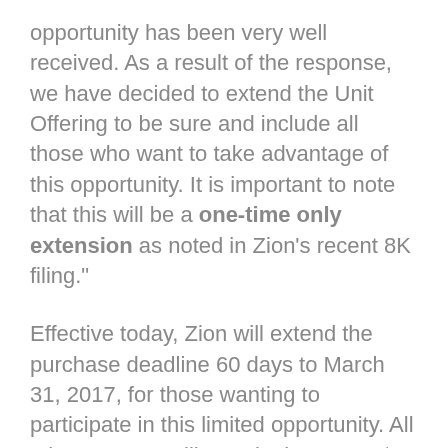opportunity has been very well received. As a result of the response, we have decided to extend the Unit Offering to be sure and include all those who want to take advantage of this opportunity. It is important to note that this will be a one-time only extension as noted in Zion's recent 8K filing."
Effective today, Zion will extend the purchase deadline 60 days to March 31, 2017, for those wanting to participate in this limited opportunity. All other aspects will remain the same: $10 per Unit will purchase 7 shares of stock and 7